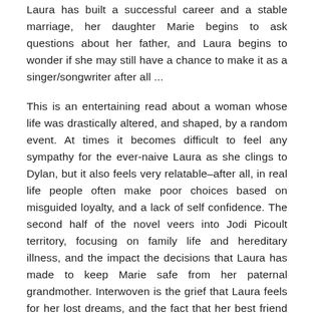Laura has built a successful career and a stable marriage, her daughter Marie begins to ask questions about her father, and Laura begins to wonder if she may still have a chance to make it as a singer/songwriter after all ...
This is an entertaining read about a woman whose life was drastically altered, and shaped, by a random event. At times it becomes difficult to feel any sympathy for the ever-naive Laura as she clings to Dylan, but it also feels very relatable–after all, in real life people often make poor choices based on misguided loyalty, and a lack of self confidence. The second half of the novel veers into Jodi Picoult territory, focusing on family life and hereditary illness, and the impact the decisions that Laura has made to keep Marie safe from her paternal grandmother. Interwoven is the grief that Laura feels for her lost dreams, and the fact that her best friend Callie has ended up with the career that she always wanted. Things come right in the end, in a way that is realistic and satisfying.
I enjoyed this one, in particular the prose was quite easy to